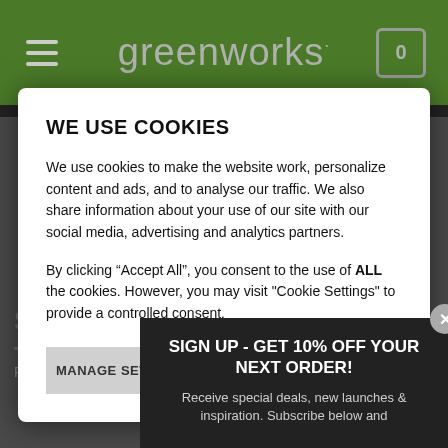greenworks
WE USE COOKIES
We use cookies to make the website work, personalize content and ads, and to analyse our traffic. We also share information about your use of our site with our social media, advertising and analytics partners.
By clicking “Accept All”, you consent to the use of ALL the cookies. However, you may visit "Cookie Settings" to provide a controlled consent.
MANAGE SETTINGS
ACCEPT ALL
SIGN UP - GET 10% OFF YOUR NEXT ORDER!
Receive special deals, new launches & inspiration. Subscribe below and